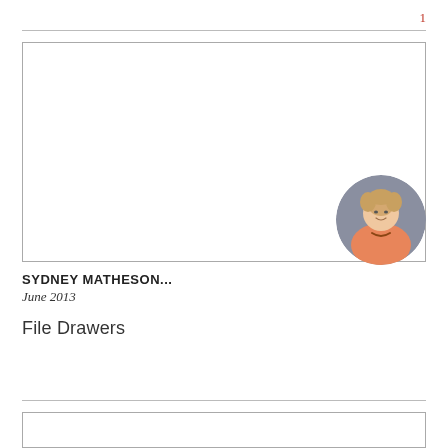1
[Figure (photo): Large empty rectangular image placeholder box with a light border]
[Figure (photo): Circular portrait photo of a smiling middle-aged woman with short blonde hair wearing an orange top and a necklace, set against a grey background]
SYDNEY MATHESON...
June 2013
File Drawers
[Figure (photo): Second empty rectangular image placeholder box with a light border, partially visible at the bottom of the page]